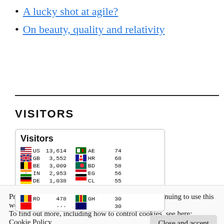A lucky shot at agile?
On beauty, quality and relativity
VISITORS
[Figure (infographic): Visitors widget showing country codes and visitor counts: US 13,614 | AE 74 | GB 3,552 | HR 68 | BE 3,009 | BD 58 | IN 2,953 | EG 56 | DE 1,038 | CL 55 | RO 478 | GH 30]
Privacy & Cookies: This site uses cookies. By continuing to use this website, you agree to their use.
To find out more, including how to control cookies, see here: Cookie Policy
Close and accept